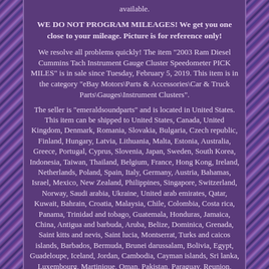available.
WE DO NOT PROGRAM MILEAGES! We get you one close to your mileage. Picture is for reference only!
We resolve all problems quickly! The item "2003 Ram Diesel Cummins Tach Instrument Gauge Cluster Speedometer PICK MILES" is in sale since Tuesday, February 5, 2019. This item is in the category "eBay Motors\Parts & Accessories\Car & Truck Parts\Gauges\Instrument Clusters".
The seller is "emeraldsoundparts" and is located in United States. This item can be shipped to United States, Canada, United Kingdom, Denmark, Romania, Slovakia, Bulgaria, Czech republic, Finland, Hungary, Latvia, Lithuania, Malta, Estonia, Australia, Greece, Portugal, Cyprus, Slovenia, Japan, Sweden, South Korea, Indonesia, Taiwan, Thailand, Belgium, France, Hong Kong, Ireland, Netherlands, Poland, Spain, Italy, Germany, Austria, Bahamas, Israel, Mexico, New Zealand, Philippines, Singapore, Switzerland, Norway, Saudi arabia, Ukraine, United arab emirates, Qatar, Kuwait, Bahrain, Croatia, Malaysia, Chile, Colombia, Costa rica, Panama, Trinidad and tobago, Guatemala, Honduras, Jamaica, China, Antigua and barbuda, Aruba, Belize, Dominica, Grenada, Saint kitts and nevis, Saint lucia, Montserrat, Turks and caicos islands, Barbados, Bermuda, Brunei darussalam, Bolivia, Egypt, Guadeloupe, Iceland, Jordan, Cambodia, Cayman islands, Sri lanka, Luxembourg, Martinique, Oman, Pakistan, Paraguay, Reunion, Uruguay, Russian federation, South africa.